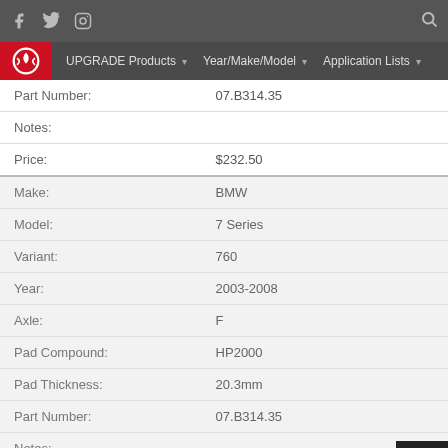Navigation bar with social icons (Facebook, Twitter, Instagram) and search icon
UPGRADE Products | Year/Make/Model | Application Lists
| Field | Value |
| --- | --- |
| Part Number: | 07.B314.35 |
| Notes: |  |
| Price: | $232.50 |
| Make: | BMW |
| Model: | 7 Series |
| Variant: | 760 |
| Year: | 2003-2008 |
| Axle: | F |
| Pad Compound: | HP2000 |
| Pad Thickness: | 20.3mm |
| Part Number: | 07.B314.35 |
| Notes: |  |
| Price: | $232.50 |
| Make: | BMW |